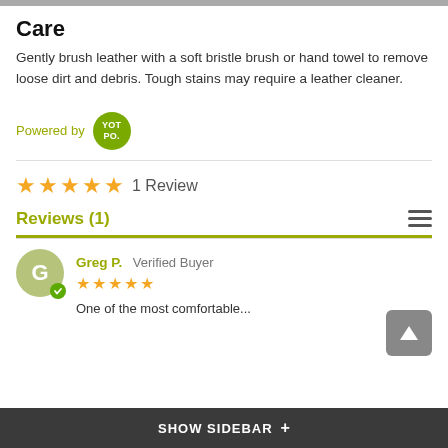Care
Gently brush leather with a soft bristle brush or hand towel to remove loose dirt and debris. Tough stains may require a leather cleaner.
[Figure (logo): Powered by YOTPO badge logo]
1 Review
Reviews (1)
Greg P.  Verified Buyer
One of the most comfortable...